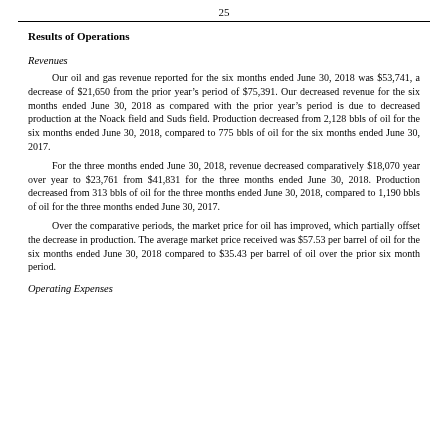25
Results of Operations
Revenues
Our oil and gas revenue reported for the six months ended June 30, 2018 was $53,741, a decrease of $21,650 from the prior year’s period of $75,391. Our decreased revenue for the six months ended June 30, 2018 as compared with the prior year’s period is due to decreased production at the Noack field and Suds field. Production decreased from 2,128 bbls of oil for the six months ended June 30, 2018, compared to 775 bbls of oil for the six months ended June 30, 2017.
For the three months ended June 30, 2018, revenue decreased comparatively $18,070 year over year to $23,761 from $41,831 for the three months ended June 30, 2018. Production decreased from 313 bbls of oil for the three months ended June 30, 2018, compared to 1,190 bbls of oil for the three months ended June 30, 2017.
Over the comparative periods, the market price for oil has improved, which partially offset the decrease in production. The average market price received was $57.53 per barrel of oil for the six months ended June 30, 2018 compared to $35.43 per barrel of oil over the prior six month period.
Operating Expenses